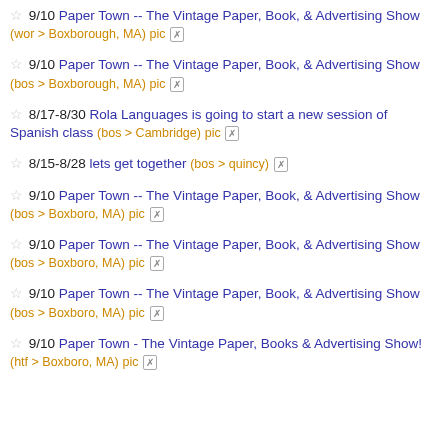9/10 Paper Town -- The Vintage Paper, Book, & Advertising Show (wor > Boxborough, MA) pic
9/10 Paper Town -- The Vintage Paper, Book, & Advertising Show (bos > Boxborough, MA) pic
8/17-8/30 Rola Languages is going to start a new session of Spanish class (bos > Cambridge) pic
8/15-8/28 lets get together (bos > quincy)
9/10 Paper Town -- The Vintage Paper, Book, & Advertising Show (bos > Boxboro, MA) pic
9/10 Paper Town -- The Vintage Paper, Book, & Advertising Show (bos > Boxboro, MA) pic
9/10 Paper Town -- The Vintage Paper, Book, & Advertising Show (bos > Boxboro, MA) pic
9/10 Paper Town - The Vintage Paper, Books & Advertising Show! (htf > Boxboro, MA) pic